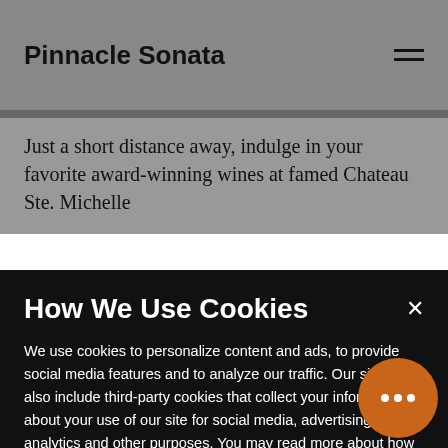Pinnacle Sonata
Just a short distance away, indulge in your favorite award-winning wines at famed Chateau Ste. Michelle
How We Use Cookies
We use cookies to personalize content and ads, to provide social media features and to analyze our traffic. Our site may also include third-party cookies that collect your information about your use of our site for social media, advertising, analytics and other purposes. You may read more about how we collect personal information, why we collect it, and how we use it, and about our and third-party cookies, in our Privacy Policy. The preference center is accessible at any time through the “Manage Privacy Preferences” button located on every page.
Manage Cookie Preferences
Accept All Cookies